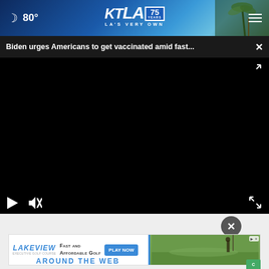☾ 80° KTLA 75 YEARS LA'S VERY OWN
Biden urges Americans to get vaccinated amid fast...  ×
[Figure (screenshot): Black video player area with play button, mute button, and fullscreen expand icon]
[Figure (screenshot): Advertisement banner: Lakeview - Fast and Affordable Golf - Play Now button - golf course image]
AROUND THE WEB